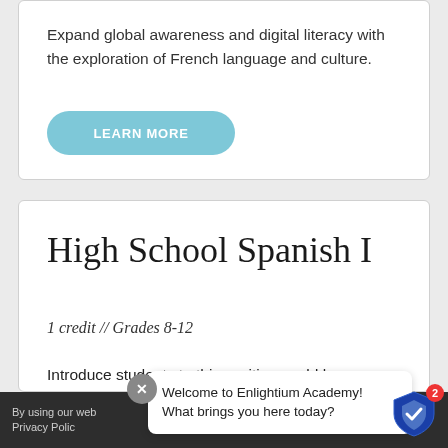Expand global awareness and digital literacy with the exploration of French language and culture.
LEARN MORE
High School Spanish I
1 credit // Grades 8-12
Introduce students to this exciting world language with this year-long, interactive, introductory Spanish course.
By using our web... Privacy Polic...
Welcome to Enlightium Academy! What brings you here today?